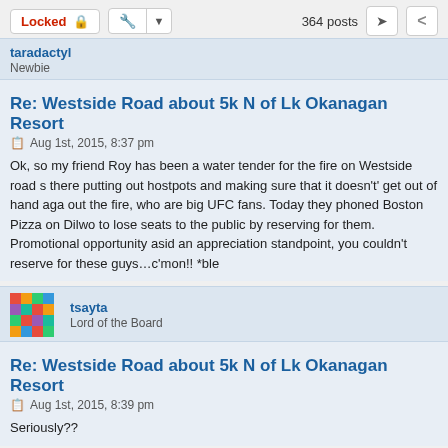Locked | [tools] | 364 posts
taradactyl
Newbie
Re: Westside Road about 5k N of Lk Okanagan Resort
Aug 1st, 2015, 8:37 pm
Ok, so my friend Roy has been a water tender for the fire on Westside road s... there putting out hostpots and making sure that it doesn't' get out of hand aga... out the fire, who are big UFC fans. Today they phoned Boston Pizza on Dilwo... to lose seats to the public by reserving for them. Promotional opportunity asid... an appreciation standpoint, you couldn't reserve for these guys…c'mon!! *ble...
tsayta
Lord of the Board
Re: Westside Road about 5k N of Lk Okanagan Resort
Aug 1st, 2015, 8:39 pm
Seriously??